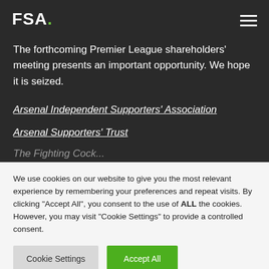FSA.
The forthcoming Premier League shareholders' meeting presents an important opportunity. We hope it is seized.
Arsenal Independent Supporters' Association
Arsenal Supporters' Trust
The Fighting Cock...
We use cookies on our website to give you the most relevant experience by remembering your preferences and repeat visits. By clicking "Accept All", you consent to the use of ALL the cookies. However, you may visit "Cookie Settings" to provide a controlled consent.